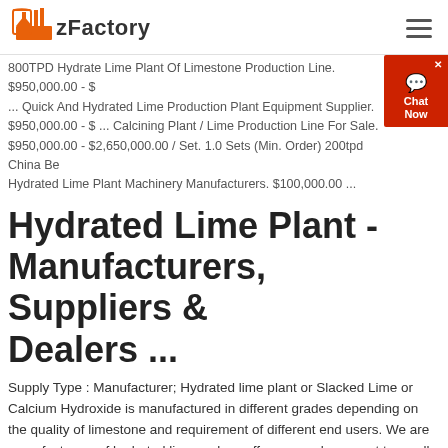zFactory
800TPD Hydrate Lime Plant Of Limestone Production Line. $950,000.00 - $ ... Quick And Hydrated Lime Production Plant Equipment Supplier. $950,000.00 - $ ... Calcining Plant / Lime Production Line For Sale. $950,000.00 - $2,650,000.00 / Set. 1.0 Sets (Min. Order) 200tpd China Best Hydrated Lime Plant Machinery Manufacturers. $100,000.00 ...
Hydrated Lime Plant - Manufacturers, Suppliers & Dealers ...
Supply Type : Manufacturer; Hydrated lime plant or Slacked Lime or Calcium Hydroxide is manufactured in different grades depending on the quality of limestone and requirement of different end users. We are manufacturers of hydrated lime and we offers a good prospect to small scale manufacturers for converti more...
quick lime plant/ active lime production plant/ hydrated